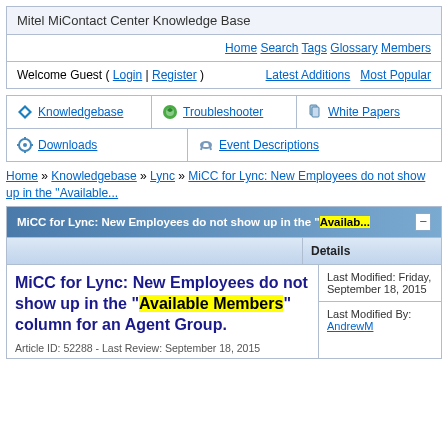Mitel MiContact Center Knowledge Base
Home | Search | Tags | Glossary | Members
Welcome Guest ( Login | Register )   Latest Additions   Most Popular
[Figure (screenshot): Navigation tabs: Knowledgebase, Troubleshooter, White Papers, Downloads, Event Descriptions]
Home » Knowledgebase » Lync » MiCC for Lync: New Employees do not show up in the "Available...
MiCC for Lync: New Employees do not show up in the "Available...
MiCC for Lync: New Employees do not show up in the "Available Members" column for an Agent Group.
Article ID: 52288  - Last Review: September 18, 2015
Last Modified: Friday, September 18, 2015
Last Modified By: AndrewM